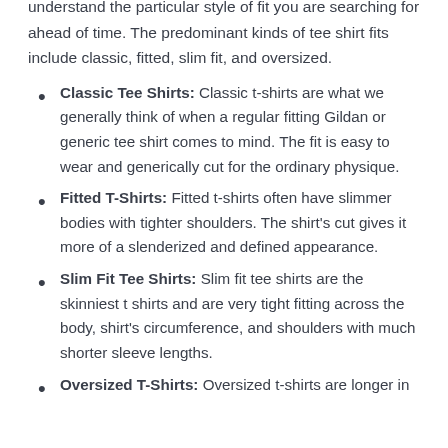understand the particular style of fit you are searching for ahead of time. The predominant kinds of tee shirt fits include classic, fitted, slim fit, and oversized.
Classic Tee Shirts: Classic t-shirts are what we generally think of when a regular fitting Gildan or generic tee shirt comes to mind. The fit is easy to wear and generically cut for the ordinary physique.
Fitted T-Shirts: Fitted t-shirts often have slimmer bodies with tighter shoulders. The shirt's cut gives it more of a slenderized and defined appearance.
Slim Fit Tee Shirts: Slim fit tee shirts are the skinniest t shirts and are very tight fitting across the body, shirt's circumference, and shoulders with much shorter sleeve lengths.
Oversized T-Shirts: Oversized t-shirts are longer in